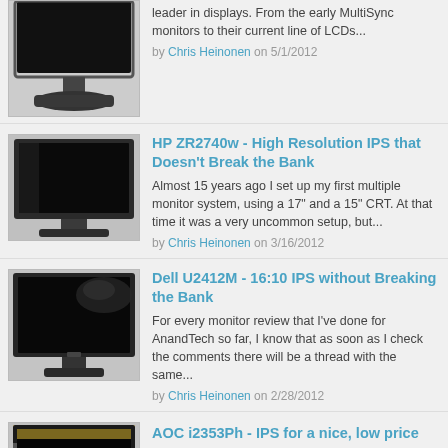[Figure (photo): Photo of a computer monitor (first article, partially cropped at top)]
leader in displays. From the early MultiSync monitors to their current line of LCDs...
by Chris Heinonen on 5/1/2012
[Figure (photo): Photo of HP ZR2740w monitor]
HP ZR2740w - High Resolution IPS that Doesn't Break the Bank
Almost 15 years ago I set up my first multiple monitor system, using a 17" and a 15" CRT. At that time it was a very uncommon setup, but...
by Chris Heinonen on 3/16/2012
[Figure (photo): Photo of Dell U2412M monitor]
Dell U2412M - 16:10 IPS without Breaking the Bank
For every monitor review that I've done for AnandTech so far, I know that as soon as I check the comments there will be a thread with the same...
by Chris Heinonen on 2/28/2012
[Figure (photo): Photo of AOC i2353Ph monitor]
AOC i2353Ph - IPS for a nice, low price
For most people seeking accurate color reproduction and wide viewing angles, IPS